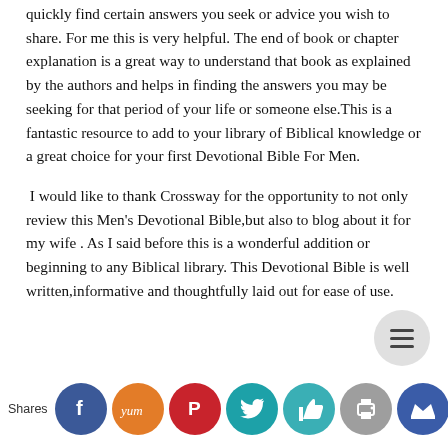quickly find certain answers you seek or advice you wish to share. For me this is very helpful. The end of book or chapter explanation is a great way to understand that book as explained by the authors and helps in finding the answers you may be seeking for that period of your life or someone else.This is a fantastic resource to add to your library of Biblical knowledge or a great choice for your first Devotional Bible For Men.
I would like to thank Crossway for the opportunity to not only review this Men's Devotional Bible,but also to blog about it for my wife . As I said before this is a wonderful addition or beginning to any Biblical library. This Devotional Bible is well written,informative and thoughtfully laid out for ease of use.
[Figure (infographic): Social sharing bar with icons: Facebook (blue), Yummly (orange), Pinterest (red), Twitter (teal), Like (teal), Print (gray), Crown (dark blue). Label 'Shares' on left. Menu hamburger button (gray circle) above bar on right.]